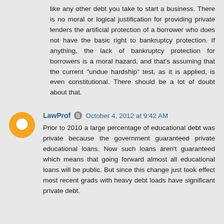like any other debt you take to start a business. There is no moral or logical justification for providing private lenders the artificial protection of a borrower who does not have the basic right to bankruptcy protection. If anything, the lack of bankruptcy protection for borrowers is a moral hazard, and that's assuming that the current "undue hardship" test, as it is applied, is even constitutional. There should be a lot of doubt about that.
LawProf  October 4, 2012 at 9:42 AM
Prior to 2010 a large percentage of educational debt was private because the government guaranteed private educational loans. Now such loans aren't guaranteed which means that going forward almost all educational loans will be public. But since this change just took effect most recent grads with heavy debt loads have significant private debt.